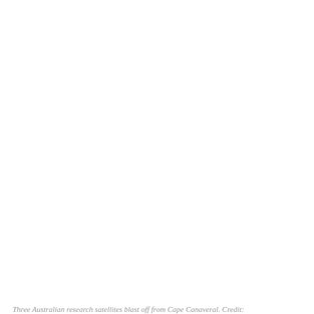[Figure (photo): A photograph of three Australian research satellites launching from Cape Canaveral. The image occupies most of the page, showing a white/blank area (the photo content is not visible in this rendering).]
Three Australian research satellites blast off from Cape Canaveral. Credit: